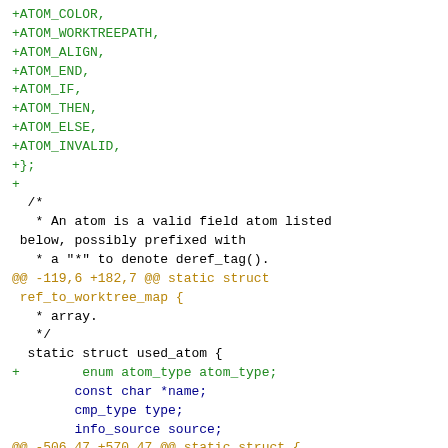Code diff showing additions to an enum and struct definitions in C source code